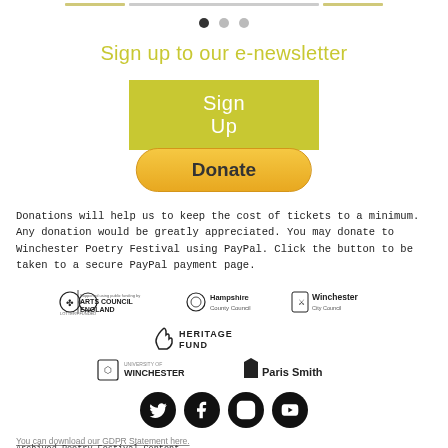[Figure (other): Three navigation dots for a carousel/slider, first dot filled dark, other two light]
Sign up to our e-newsletter
[Figure (other): Yellow/olive green 'Sign Up' rectangular button]
[Figure (other): Golden/orange 'Donate' rounded pill button]
Donations will help us to keep the cost of tickets to a minimum. Any donation would be greatly appreciated. You may donate to Winchester Poetry Festival using PayPal. Click the button to be taken to a secure PayPal payment page.
[Figure (logo): Arts Council England (Lottery Funded) logo, Hampshire County Council logo, Winchester City Council logo]
[Figure (logo): Heritage Fund logo with lottery hand icon]
[Figure (logo): University of Winchester logo and Paris Smith logo]
[Figure (other): Social media icons: Twitter, Facebook, Instagram, YouTube — black circles with white icons]
You can download our GDPR Statement here.
Archived Poetry Festival Content